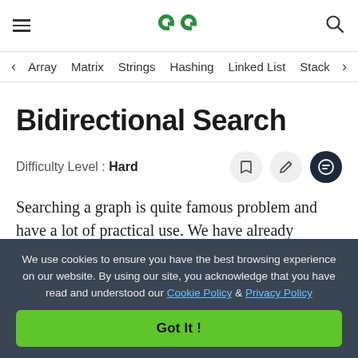GeeksforGeeks
Array | Matrix | Strings | Hashing | Linked List | Stack
Bidirectional Search
Difficulty Level : Hard
Searching a graph is quite famous problem and have a lot of practical use. We have already
We use cookies to ensure you have the best browsing experience on our website. By using our site, you acknowledge that you have read and understood our Cookie Policy & Privacy Policy